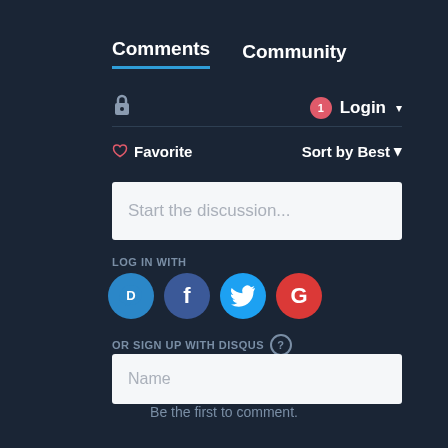Comments  Community
[Figure (screenshot): Lock icon and Login button with notification badge showing '1']
Favorite   Sort by Best
Start the discussion...
LOG IN WITH
[Figure (logo): Social login icons: Disqus (D), Facebook (f), Twitter bird, Google (G)]
OR SIGN UP WITH DISQUS ?
Name
Be the first to comment.